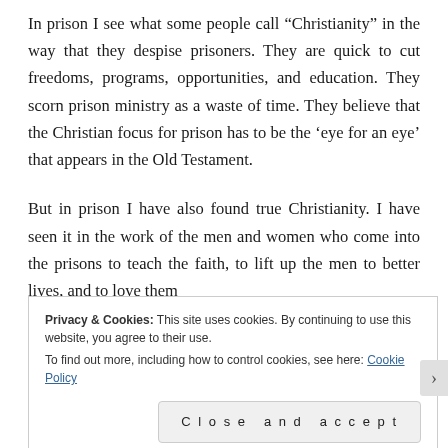In prison I see what some people call “Christianity” in the way that they despise prisoners. They are quick to cut freedoms, programs, opportunities, and education. They scorn prison ministry as a waste of time. They believe that the Christian focus for prison has to be the ‘eye for an eye’ that appears in the Old Testament.
But in prison I have also found true Christianity. I have seen it in the work of the men and women who come into the prisons to teach the faith, to lift up the men to better lives, and to love them
Privacy & Cookies: This site uses cookies. By continuing to use this website, you agree to their use.
To find out more, including how to control cookies, see here: Cookie Policy
Close and accept